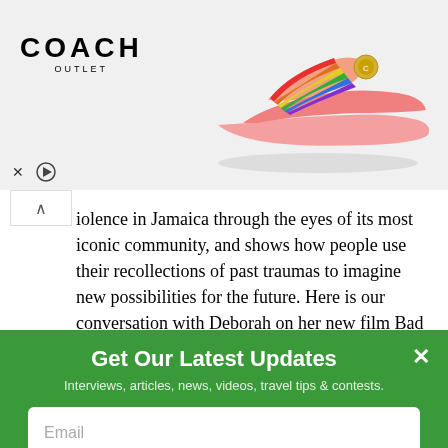[Figure (photo): Coach Outlet advertisement banner showing the Coach Outlet logo on the left and a rainbow-striped pink slide sandal on the right against a light grey background. Below the ad are an X (close) button and a play button icon.]
iolence in Jamaica through the eyes of its most iconic community, and shows how people use their recollections of past traumas to imagine new possibilities for the future. Here is our conversation with Deborah on her new film Bad Friday.
Please tell us about the event that is the subject of your documentary Bad Friday.
Get Our Latest Updates
Interviews, articles, news, videos, travel tips & contests.
Email
SIGN UP